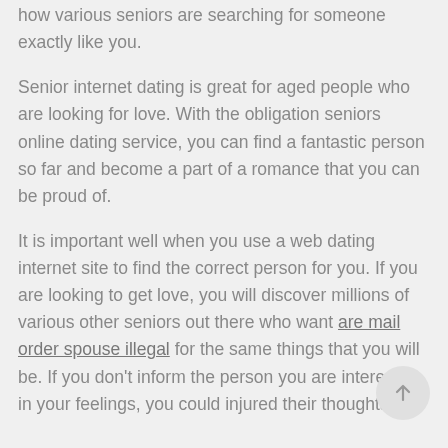how various seniors are searching for someone exactly like you.
Senior internet dating is great for aged people who are looking for love. With the obligation seniors online dating service, you can find a fantastic person so far and become a part of a romance that you can be proud of.
It is important well when you use a web dating internet site to find the correct person for you. If you are looking to get love, you will discover millions of various other seniors out there who want are mail order spouse illegal for the same things that you will be. If you don't inform the person you are interested in your feelings, you could injured their thoughts.